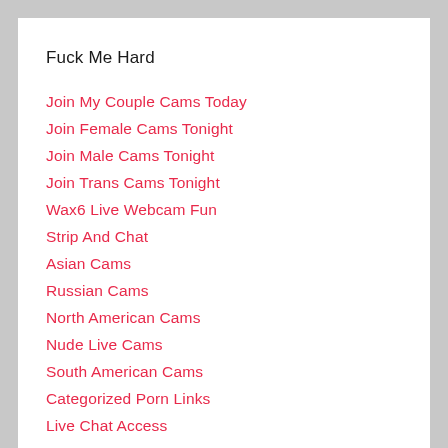Fuck Me Hard
Join My Couple Cams Today
Join Female Cams Tonight
Join Male Cams Tonight
Join Trans Cams Tonight
Wax6 Live Webcam Fun
Strip And Chat
Asian Cams
Russian Cams
North American Cams
Nude Live Cams
South American Cams
Categorized Porn Links
Live Chat Access